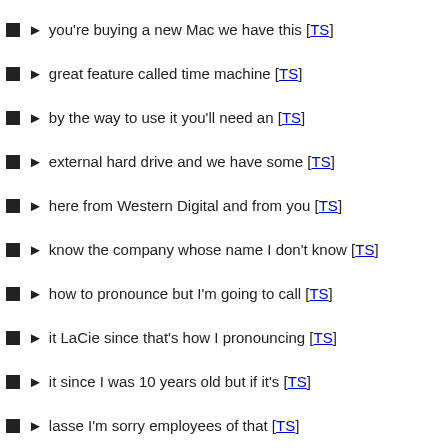you're buying a new Mac we have this [TS]
great feature called time machine [TS]
by the way to use it you'll need an [TS]
external hard drive and we have some [TS]
here from Western Digital and from you [TS]
know the company whose name I don't know [TS]
how to pronounce but I'm going to call [TS]
it LaCie since that's how I pronouncing [TS]
it since I was 10 years old but if it's [TS]
lasse I'm sorry employees of that [TS]
company please send me correction email [TS]
but they call third party hard drives no [TS]